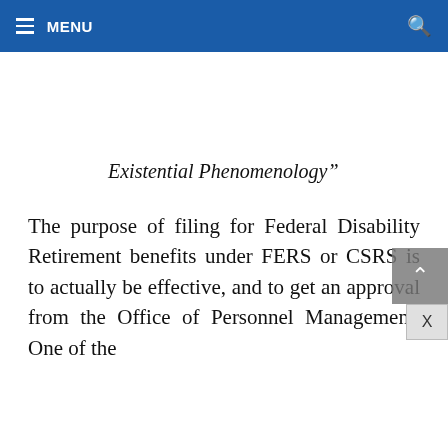MENU
Existential Phenomenology”
The purpose of filing for Federal Disability Retirement benefits under FERS or CSRS is to actually be effective, and to get an approval from the Office of Personnel Management. One of the